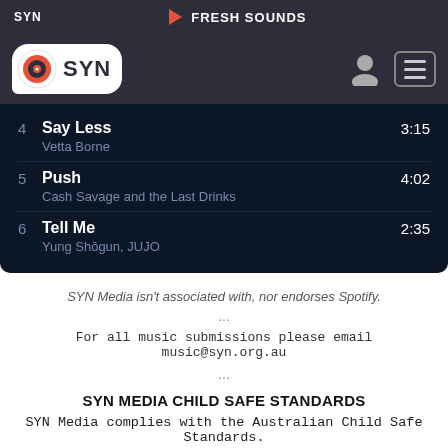SYN | FRESH SOUNDS
[Figure (logo): SYN Media logo — red circle with speaker icon inside speech bubble, with text SYN]
4  Say Less  3:15
Vetta Borne
5  Push  4:02
Cash Savage and the Last Drinks
6  Tell Me  2:35
Yung Shōgun, JUJO
SYN Media isn't associated with, nor endorses Spotify.
...
For all music submissions please email music@syn.org.au
...
SYN MEDIA CHILD SAFE STANDARDS
SYN Media complies with the Australian Child Safe Standards.